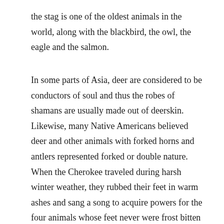the stag is one of the oldest animals in the world, along with the blackbird, the owl, the eagle and the salmon.
In some parts of Asia, deer are considered to be conductors of soul and thus the robes of shamans are usually made out of deerskin. Likewise, many Native Americans believed deer and other animals with forked horns and antlers represented forked or double nature. When the Cherokee traveled during harsh winter weather, they rubbed their feet in warm ashes and sang a song to acquire powers for the four animals whose feet never were frost bitten—opossum, wolf, fox and deer. To the Pawnee, the deer is a guide to the light of the Sun. The Panche Indians of Colombia believe that human souls pass into the bodies of deer after death and therefore eating the flesh of deer is forbidden to them. In ancient Mexico, deer were